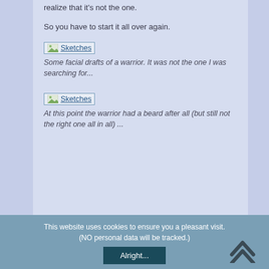realize that it's not the one.
So you have to start it all over again.
[Figure (illustration): Sketches link/thumbnail placeholder icon]
Some facial drafts of a warrior. It was not the one I was searching for...
[Figure (illustration): Sketches link/thumbnail placeholder icon]
At this point the warrior had a beard after all (but still not the right one all in all) ...
This website uses cookies to ensure you a pleasant visit. (NO personal data will be tracked.)